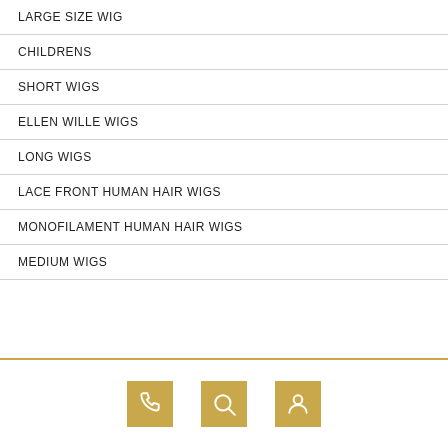LARGE SIZE WIG
CHILDRENS
SHORT WIGS
ELLEN WILLE WIGS
LONG WIGS
LACE FRONT HUMAN HAIR WIGS
MONOFILAMENT HUMAN HAIR WIGS
MEDIUM WIGS
Phone, Search, Account icons